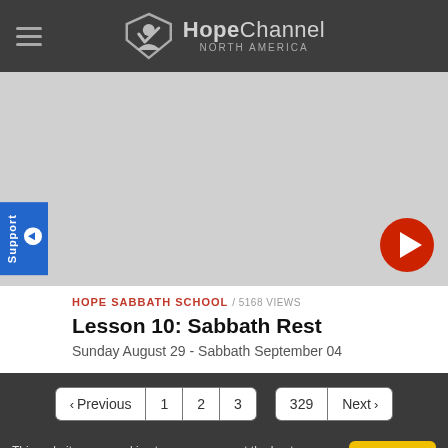HopeChannel NORTH AMERICA
[Figure (screenshot): Video thumbnail area (light gray background) with red play button circle in bottom right corner]
HOPE SABBATH SCHOOL / 5168 VIEWS
Lesson 10: Sabbath Rest
Sunday August 29 - Sabbath September 04
< Previous 1 2 3 ... 329 Next >
This website uses cookies to ensure you get the best experience on our website More info